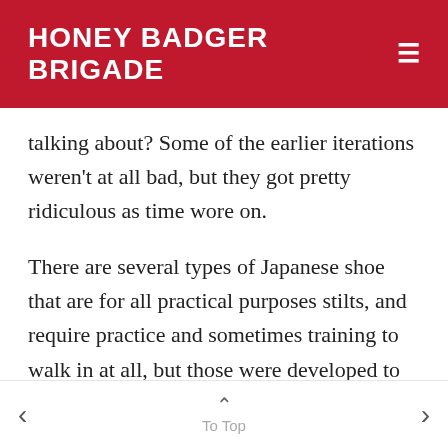HONEY BADGER BRIGADE
talking about? Some of the earlier iterations weren't at all bad, but they got pretty ridiculous as time wore on.
There are several types of Japanese shoe that are for all practical purposes stilts, and require practice and sometimes training to walk in at all, but those were developed to deal with terrain and are unique in this discussion in that they would have been worn by lower classes and itinerant monks, never by the
To Top